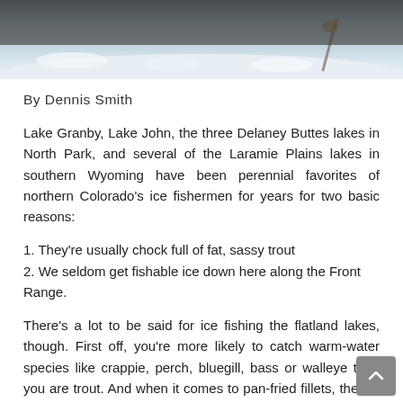[Figure (photo): Photo of a person ice fishing, holding a fish over a snowy/icy surface, viewed from above.]
By Dennis Smith
Lake Granby, Lake John, the three Delaney Buttes lakes in North Park, and several of the Laramie Plains lakes in southern Wyoming have been perennial favorites of northern Colorado's ice fishermen for years for two basic reasons:
1. They're usually chock full of fat, sassy trout
2. We seldom get fishable ice down here along the Front Range.
There's a lot to be said for ice fishing the flatland lakes, though. First off, you're more likely to catch warm-water species like crappie, perch, bluegill, bass or walleye than you are trout. And when it comes to pan-fried fillets, there's not a trout that swims that can match any of those for taste and texture. Wild brookies on the grill, maybe.